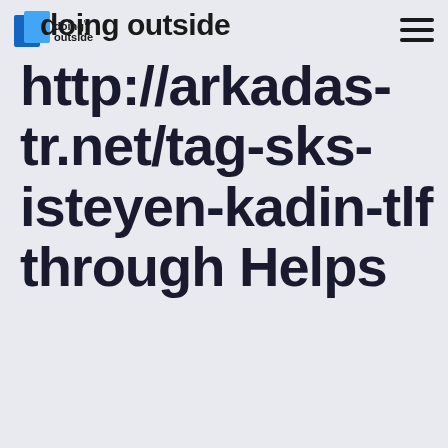doing outside – navigation header with logo and hamburger menu
http://arkadas-tr.net/tag-sks-isteyen-kadin-tlf through Helps